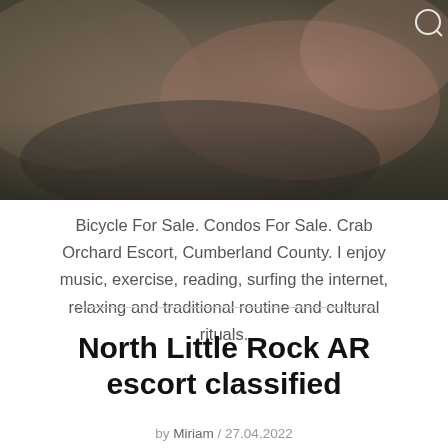[Figure (photo): Blurry close-up photograph with dark olive, brown and reddish tones showing hands or body parts in dim lighting]
Bicycle For Sale. Condos For Sale. Crab Orchard Escort, Cumberland County. I enjoy music, exercise, reading, surfing the internet, relaxing and traditional routine and cultural rituals.
North Little Rock AR escort classified
by Miriam / 27.04.2022